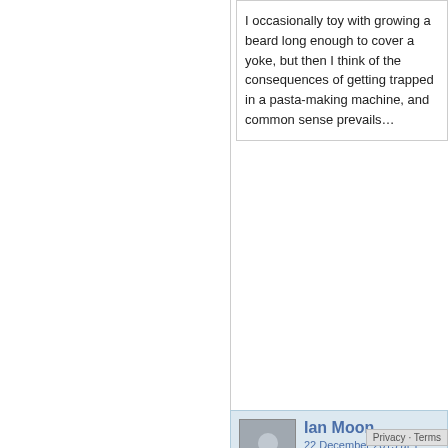I occasionally toy with growing a beard long enough to cover a yoke, but then I think of the consequences of getting trapped in a pasta-making machine, and common sense prevails…
[Figure (photo): Grey placeholder avatar icon for Ian Moon commenter]
Ian Moon
22 December 2015 at 1:
Ian
This is really interesting stuff, m... h s wa ng se tte
Superb site by the wa
Ian & Hilary
Privacy & Cookies: This site uses cookies. By continuing to use this website, you agree to their use.
To find out more, including how to control cookies, see here: About Cookies
Close and accept
Privacy · Terms